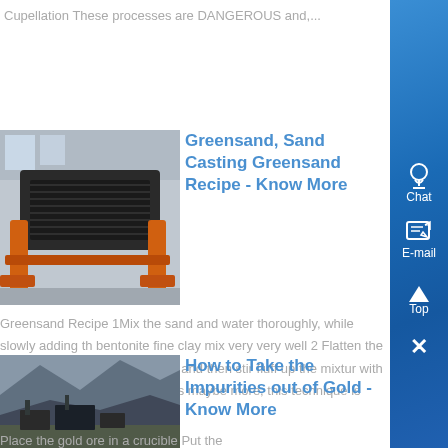Cupellation These processes are DANGEROUS and,...
[Figure (photo): Industrial machinery, possibly a vibrating screen or conveyor, in a warehouse/factory setting with orange metal structure]
Greensand, Sand Casting Greensand Recipe - Know More
Greensand Recipe 1Mix the sand and water thoroughly, while slowly adding the bentonite fine clay mix very very well 2 Flatten the mixture until flat like a pancake and then stir fluff up the mixture with shovel Repeat step two, 4 times maybe more, this technique is called mulling...
[Figure (photo): Quarry or mining site with heavy machinery and rocky terrain]
How to Take the Impurities out of Gold - Know More
Place the gold ore in a crucible Put the